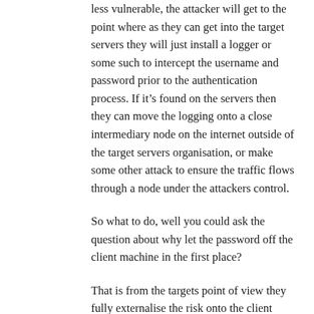less vulnerable, the attacker will get to the point where as they can get into the target servers they will just install a logger or some such to intercept the username and password prior to the authentication process. If it’s found on the servers then they can move the logging onto a close intermediary node on the internet outside of the target servers organisation, or make some other attack to ensure the traffic flows through a node under the attackers control.
So what to do, well you could ask the question about why let the password off the client machine in the first place?
That is from the targets point of view they fully externalise the risk onto the client